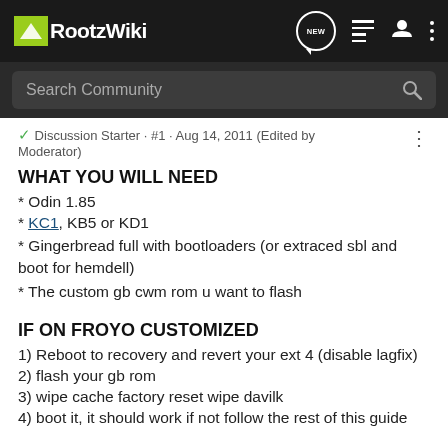RootzWiki
Search Community
Discussion Starter · #1 · Aug 14, 2011 (Edited by Moderator)
WHAT YOU WILL NEED
* Odin 1.85
* KC1, KB5 or KD1
* Gingerbread full with bootloaders (or extraced sbl and boot for hemdell)
* The custom gb cwm rom u want to flash
IF ON FROYO CUSTOMIZED
1) Reboot to recovery and revert your ext 4 (disable lagfix)
2) flash your gb rom
3) wipe cache factory reset wipe davilk
4) boot it, it should work if not follow the rest of this guide